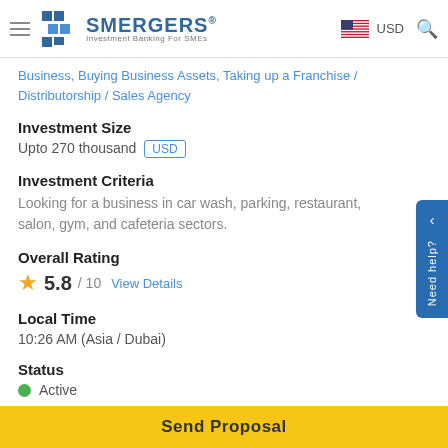SMERGERS Investment Banking For SMEs | USD
Business, Buying Business Assets, Taking up a Franchise / Distributorship / Sales Agency
Investment Size
Upto 270 thousand USD
Investment Criteria
Looking for a business in car wash, parking, restaurant, salon, gym, and cafeteria sectors.
Overall Rating
5.8 / 10 View Details
Local Time
10:26 AM (Asia / Dubai)
Status
Active
Sector Preference
Restaurants and Bars, Gyms, Auto Repair and Service, Beauty Salons
Send Proposal